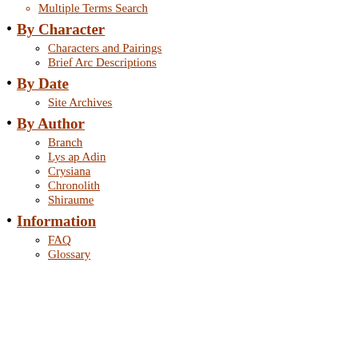Multiple Terms Search
By Character
Characters and Pairings
Brief Arc Descriptions
By Date
Site Archives
By Author
Branch
Lys ap Adin
Crysiana
Chronolith
Shiraume
Information
FAQ
Glossary